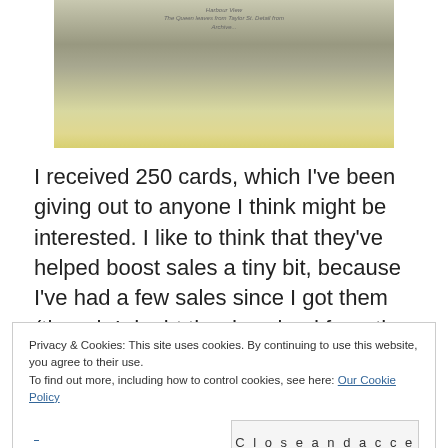[Figure (photo): A faded, aged photograph or document image with text overlay, yellowish-green tinted, showing a landscape or document with handwritten-style caption text]
I received 250 cards, which I've been giving out to anyone I think might be interested. I like to think that they've helped boost sales a tiny bit, because I've had a few sales since I got them (though I doubt the download from the UK has much to do with the business cards). I thought that since my business cards
Privacy & Cookies: This site uses cookies. By continuing to use this website, you agree to their use.
To find out more, including how to control cookies, see here: Our Cookie Policy
Close and accept